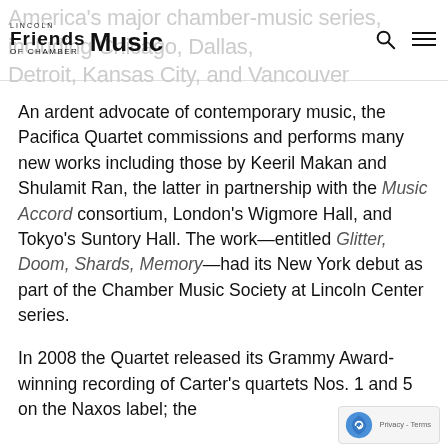Lincoln Friends of Chamber Music — America's major chamber-music series, including Chicago, Dallas, Detroit, Kansas City, and Vancouver
An ardent advocate of contemporary music, the Pacifica Quartet commissions and performs many new works including those by Keeril Makan and Shulamit Ran, the latter in partnership with the Music Accord consortium, London's Wigmore Hall, and Tokyo's Suntory Hall. The work—entitled Glitter, Doom, Shards, Memory—had its New York debut as part of the Chamber Music Society at Lincoln Center series.
In 2008 the Quartet released its Grammy Award-winning recording of Carter's quartets Nos. 1 and 5 on the Naxos label; the